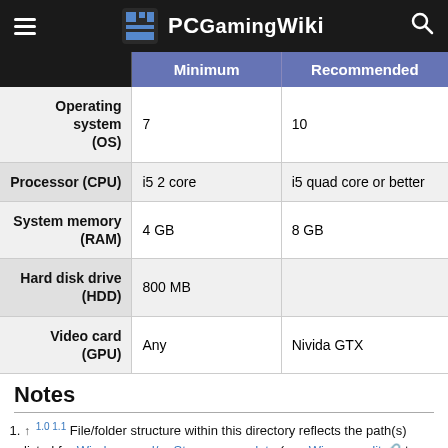PCGamingWiki
|  | Minimum | Recommended |
| --- | --- | --- |
| Operating system (OS) | 7 | 10 |
| Processor (CPU) | i5 2 core | i5 quad core or better |
| System memory (RAM) | 4 GB | 8 GB |
| Hard disk drive (HDD) | 800 MB |  |
| Video card (GPU) | Any | Nivida GTX |
Notes
↑ 1.0 1.1 File/folder structure within this directory reflects the path(s) listed for Windows and/or Steam game data (use Wine regedit to access Windows registry paths). Games with Steam Cloud support may store data in ~/.steam/steam/userdata/<user-id>/1200120/ in addition to or instead of this directory. The app ID (1200120)…